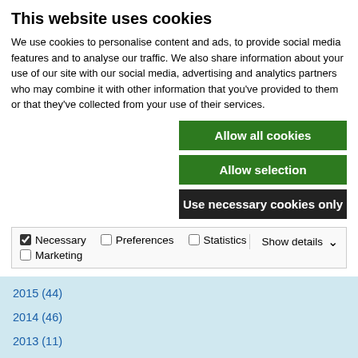This website uses cookies
We use cookies to personalise content and ads, to provide social media features and to analyse our traffic. We also share information about your use of our site with our social media, advertising and analytics partners who may combine it with other information that you've provided to them or that they've collected from your use of their services.
Allow all cookies
Allow selection
Use necessary cookies only
| Necessary | Preferences | Statistics | Show details |
| Marketing |  |  |  |
2016 (55)
2015 (44)
2014 (46)
2013 (11)
2012 (11)
2011 (13)
2010 (9)